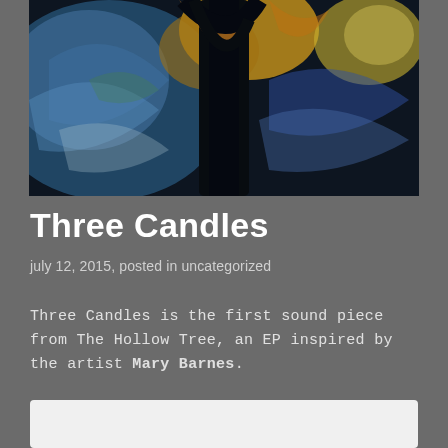[Figure (photo): Abstract oil painting of a dark tree with swirling blues, golds, and blacks reminiscent of Van Gogh style, viewed from below]
Three Candles
july 12, 2015, posted in uncategorized
Three Candles is the first sound piece from The Hollow Tree, an EP inspired by the artist Mary Barnes.